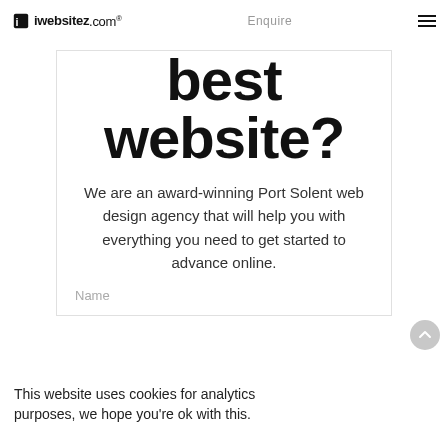iwebsitez.com® Enquire
best website?
We are an award-winning Port Solent web design agency that will help you with everything you need to get started to advance online.
Name
This website uses cookies for analytics purposes, we hope you're ok with this.
LIVE CHAT